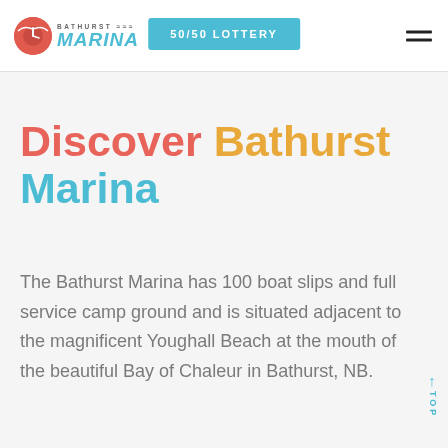Bathurst Marina — 50/50 LOTTERY
Discover Bathurst Marina
The Bathurst Marina has 100 boat slips and full service camp ground and is situated adjacent to the magnificent Youghall Beach at the mouth of the beautiful Bay of Chaleur in Bathurst, NB.